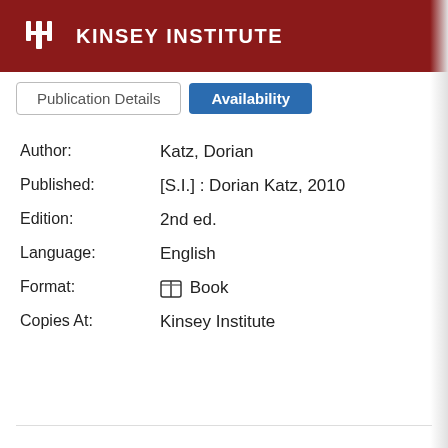KINSEY INSTITUTE
| Field | Value |
| --- | --- |
| Author: | Katz, Dorian |
| Published: | [S.I.] : Dorian Katz, 2010 |
| Edition: | 2nd ed. |
| Language: | English |
| Format: | Book |
| Copies At: | Kinsey Institute |